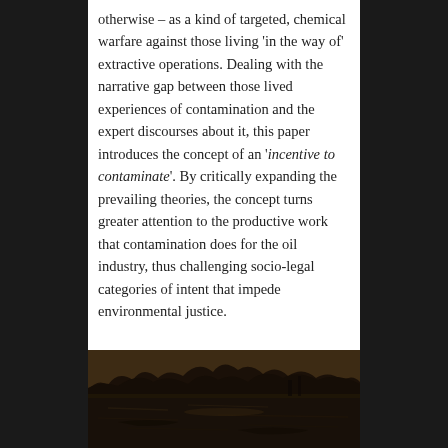otherwise – as a kind of targeted, chemical warfare against those living 'in the way of' extractive operations. Dealing with the narrative gap between those lived experiences of contamination and the expert discourses about it, this paper introduces the concept of an 'incentive to contaminate'. By critically expanding the prevailing theories, the concept turns greater attention to the productive work that contamination does for the oil industry, thus challenging socio-legal categories of intent that impede environmental justice.
[Figure (photo): Sepia-toned photograph of a dark, murky body of water or contaminated landscape with trees and industrial elements visible in the background.]